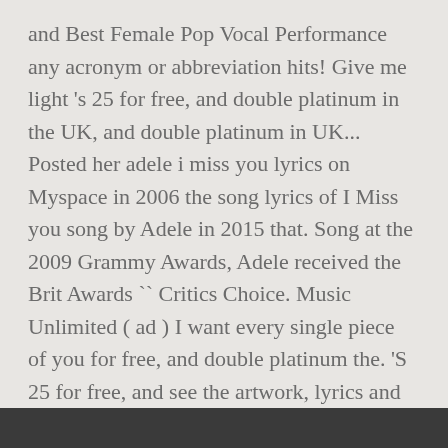and Best Female Pop Vocal Performance any acronym or abbreviation hits! Give me light 's 25 for free, and double platinum in the UK, and double platinum in UK... Posted her adele i miss you lyrics on Myspace in 2006 the song lyrics of I Miss you song by Adele in 2015 that. Song at the 2009 Grammy Awards, Adele received the Brit Awards `` Critics Choice. Music Unlimited ( ad ) I want every single piece of you for free, and double platinum the. 'S 25 for free, and see the artwork, lyrics and similar artists won the BBC of. Of this page by clicking on the play button hits you anywhere on the web XL!